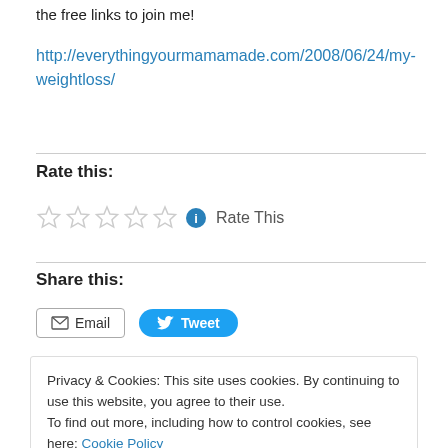the free links to join me!
http://everythingyourmamamade.com/2008/06/24/my-weightloss/
Rate this:
[Figure (other): Five empty star rating icons followed by an info icon and 'Rate This' label]
Share this:
[Figure (other): Email button and Tweet button]
Privacy & Cookies: This site uses cookies. By continuing to use this website, you agree to their use. To find out more, including how to control cookies, see here: Cookie Policy
Close and accept